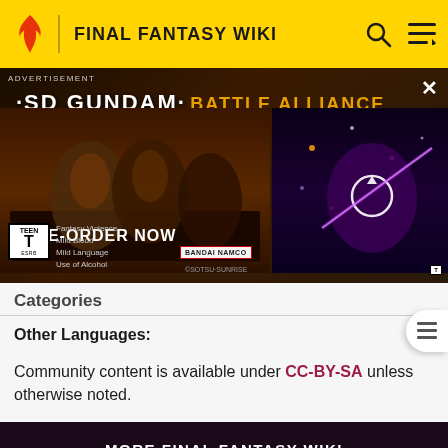FINAL FANTASY WIKI
[Figure (screenshot): SD Gundam Battle Alliance advertisement banner. Shows 'ADVERTISEMENT' label, 'SD GUNDAM BATTLE ALLIANCE' title, 'PRE-ORDER NOW' text, ESRB TEEN rating with descriptors 'Fantasy Violence, Mild Blood, Mild Language, Use of Alcohol', Bandai Namco branding, and gameplay imagery of robot suit characters. An X close button is in the top right.]
Categories
Other Languages:
Community content is available under CC-BY-SA unless otherwise noted.
MORE FINAL FANTASY WIKI